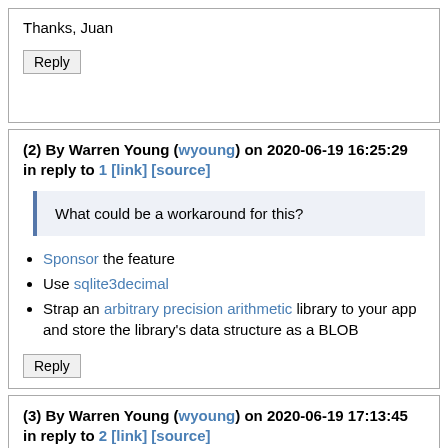Thanks, Juan
Reply
(2) By Warren Young (wyoung) on 2020-06-19 16:25:29 in reply to 1 [link] [source]
What could be a workaround for this?
Sponsor the feature
Use sqlite3decimal
Strap an arbitrary precision arithmetic library to your app and store the library's data structure as a BLOB
Reply
(3) By Warren Young (wyoung) on 2020-06-19 17:13:45 in reply to 2 [link] [source]